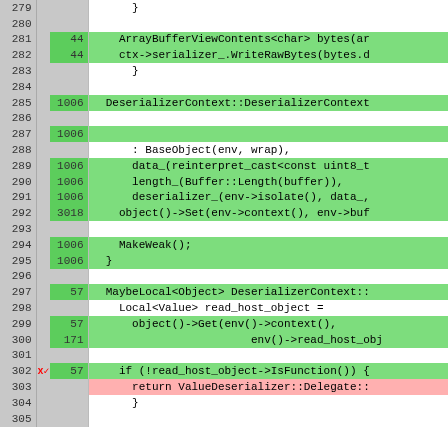[Figure (screenshot): Code coverage view showing C++ source lines 279-305 with line numbers, hit counts, and color-coded coverage highlighting (green=covered, pink=uncovered, white=not executable).]